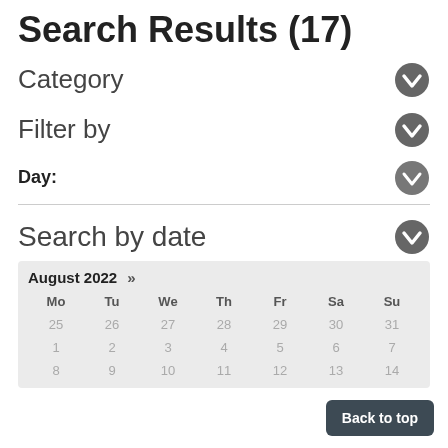Search Results (17)
Category
Filter by
Day:
Search by date
[Figure (other): Calendar widget showing August 2022 with days Mo Tu We Th Fr Sa Su and rows of dates: 25 26 27 28 29 30 31, 1 2 3 4 5 6 7, 8 9 10 11 12 13 14]
Back to top